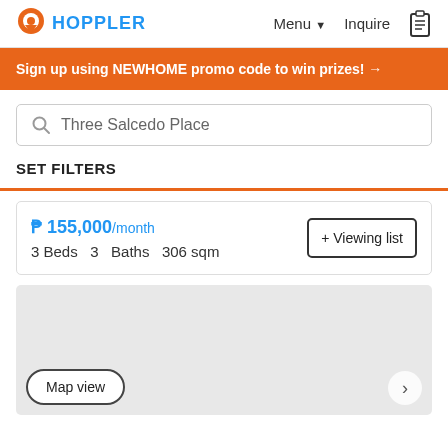HOPPLER  Menu  Inquire
Sign up using NEWHOME promo code to win prizes! →
Three Salcedo Place
SET FILTERS
₱ 155,000/month
3 Beds  3  Baths  306 sqm
[Figure (map): Map view placeholder showing a grey map area with a Map view button and a right arrow navigation button]